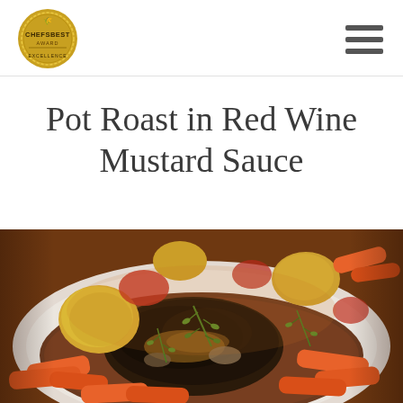[Figure (logo): ChefsBest Award for Excellence gold medal logo]
Pot Roast in Red Wine Mustard Sauce
[Figure (photo): A pot roast dish with carrots, potatoes, and fresh thyme herbs served on a white plate with rich sauce]